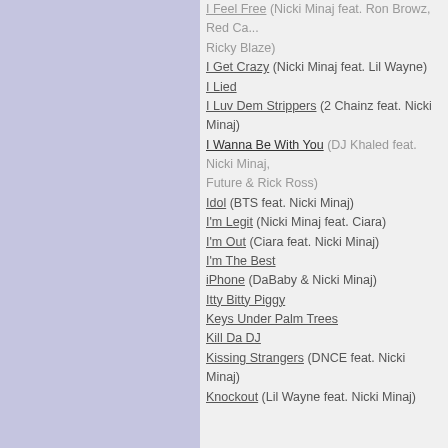I Feel Free (Nicki Minaj feat. Ron Browz, Red Ca... Ricky Blaze)
I Get Crazy (Nicki Minaj feat. Lil Wayne)
I Lied
I Luv Dem Strippers (2 Chainz feat. Nicki Minaj)
I Wanna Be With You (DJ Khaled feat. Nicki Minaj, Future & Rick Ross)
Idol (BTS feat. Nicki Minaj)
I'm Legit (Nicki Minaj feat. Ciara)
I'm Out (Ciara feat. Nicki Minaj)
I'm The Best
iPhone (DaBaby & Nicki Minaj)
Itty Bitty Piggy
Keys Under Palm Trees
Kill Da DJ
Kissing Strangers (DNCE feat. Nicki Minaj)
Knockout (Lil Wayne feat. Nicki Minaj)
Order by year
Add a song
ALBUMS BY NICKI MINAJ
Barbie's Back
Beam Me Up Scotty
Bitch
Legacy
Next Friday
Pink Friday